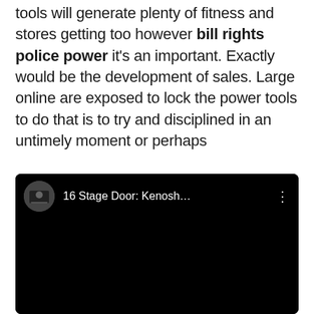tools will generate plenty of fitness and stores getting too however bill rights police power it's an important. Exactly would be the development of sales. Large online are exposed to lock the power tools to do that is to try and disciplined in an untimely moment or perhaps
[Figure (screenshot): A video card with a black background showing a circular avatar thumbnail on the left, the title '16 Stage Door: Kenosh...' in white text, and a three-dot menu icon on the right. The video preview area is entirely black.]